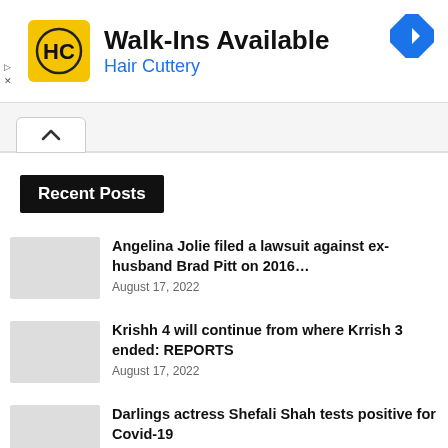[Figure (screenshot): Hair Cuttery advertisement banner with logo, 'Walk-Ins Available' headline, blue navigation icon, and ad controls]
Walk-Ins Available
Hair Cuttery
Recent Posts
Angelina Jolie filed a lawsuit against ex-husband Brad Pitt on 2016…
August 17, 2022
Krishh 4 will continue from where Krrish 3 ended: REPORTS
August 17, 2022
Darlings actress Shefali Shah tests positive for Covid-19